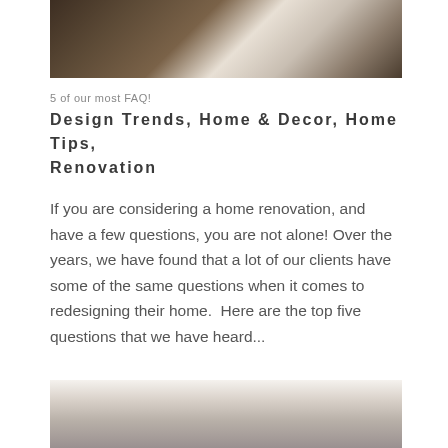[Figure (photo): Kitchen island with dark wood cabinets and granite countertop, partial view of white cabinetry on right]
5 of our most FAQ!
Design Trends, Home & Decor, Home Tips, Renovation
If you are considering a home renovation, and have a few questions, you are not alone! Over the years, we have found that a lot of our clients have some of the same questions when it comes to redesigning their home.  Here are the top five questions that we have heard...
[Figure (photo): White kitchen cabinets and appliances, refrigerator and tile backsplash visible]